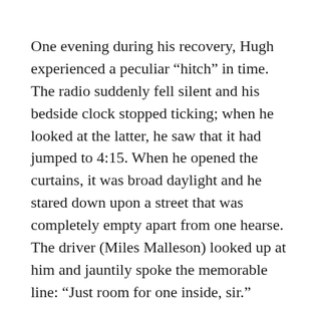One evening during his recovery, Hugh experienced a peculiar “hitch” in time. The radio suddenly fell silent and his bedside clock stopped ticking; when he looked at the latter, he saw that it had jumped to 4:15. When he opened the curtains, it was broad daylight and he stared down upon a street that was completely empty apart from one hearse. The driver (Miles Malleson) looked up at him and jauntily spoke the memorable line: “Just room for one inside, sir.”
Hugh drew away from the window, and by the time he sank back on his hospital bed, everything became normal again. The radio